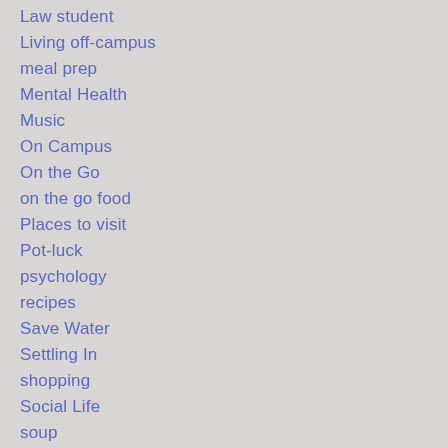Law student
Living off-campus
meal prep
Mental Health
Music
On Campus
On the Go
on the go food
Places to visit
Pot-luck
psychology
recipes
Save Water
Settling In
shopping
Social Life
soup
Student Life